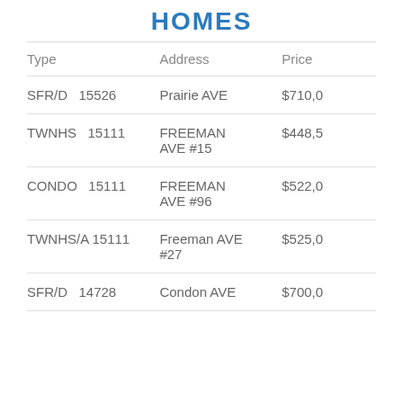HOMES
| Type | Address | Price |
| --- | --- | --- |
| SFR/D  15526 | Prairie AVE | $710,0 |
| TWNHS  15111 | FREEMAN AVE #15 | $448,5 |
| CONDO  15111 | FREEMAN AVE #96 | $522,0 |
| TWNHS/A  15111 | Freeman AVE #27 | $525,0 |
| SFR/D  14728 | Condon AVE | $700,0 |